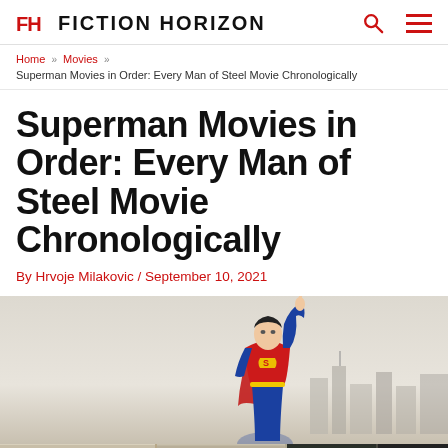FH FICTION HORIZON
Home » Movies » Superman Movies in Order: Every Man of Steel Movie Chronologically
Superman Movies in Order: Every Man of Steel Movie Chronologically
By Hrvoje Milakovic / September 10, 2021
[Figure (photo): Superman character pointing upward in costume, against a light sky background with city skyline visible]
[Figure (infographic): BoxLunch advertisement banner with Harry Potter and other themed merchandise images]